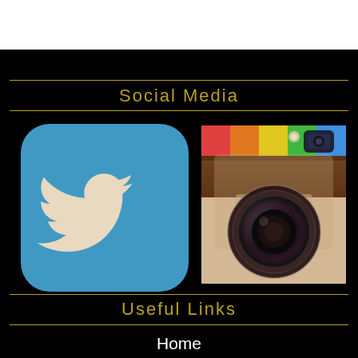Social Media
[Figure (logo): Twitter app icon — blue rounded square with white bird logo]
[Figure (logo): Instagram app icon — brown/cream rounded square with camera lens and rainbow stripe]
Useful Links
Home
Artists
Lucknam Park
Hamish Mackie Exhibition